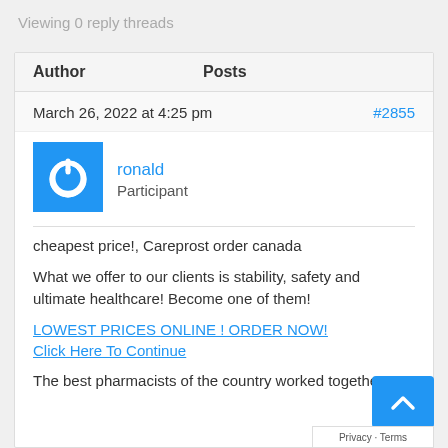Viewing 0 reply threads
| Author | Posts |
| --- | --- |
March 26, 2022 at 4:25 pm   #2855
[Figure (logo): Blue square avatar with white power button icon]
ronald
Participant
cheapest price!, Careprost order canada
What we offer to our clients is stability, safety and ultimate healthcare! Become one of them!
LOWEST PRICES ONLINE ! ORDER NOW!
Click Here To Continue
The best pharmacists of the country worked together!